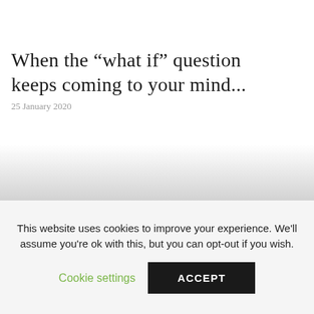When the “what if” question keeps coming to your mind...
25 January 2020
This website uses cookies to improve your experience. We’ll assume you’re ok with this, but you can opt-out if you wish.